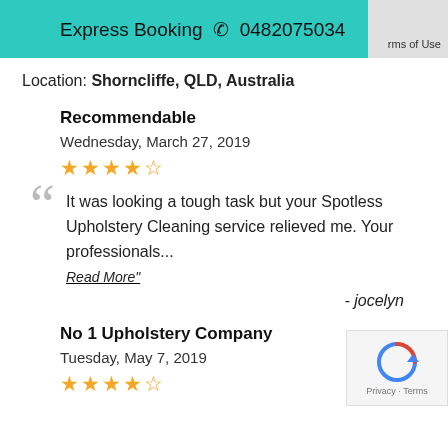Express Booking 📞 0482075034
Location: Shorncliffe, QLD, Australia
Recommendable
Wednesday, March 27, 2019
★★★★☆
It was looking a tough task but your Spotless Upholstery Cleaning service relieved me. Your professionals...
Read More"
- jocelyn
No 1 Upholstery Company
Tuesday, May 7, 2019
★★★★☆